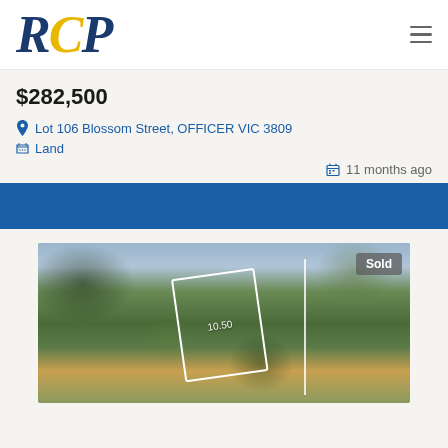[Figure (logo): RCP logo in navy blue and yellow italic serif font]
$282,500
Lot 106 Blossom Street, OFFICER VIC 3809
Land
11 months ago
[Figure (photo): Aerial/street photo of land lot with trees, white lot outline overlay, 'Sold' badge in top-right corner]